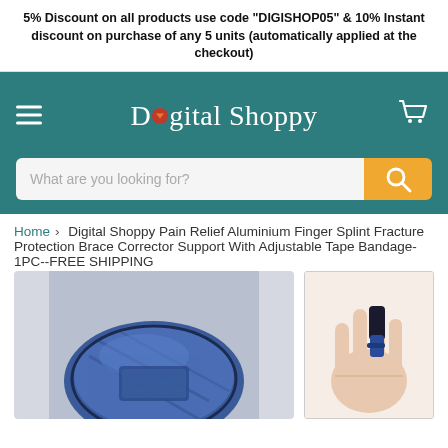5% Discount on all products use code "DIGISHOP05" & 10% Instant discount on purchase of any 5 units (automatically applied at the checkout)
[Figure (screenshot): Digital Shoppy website header with teal background, hamburger menu on left, 'Digital Shoppy' logo in center with a small red/orange funnel icon replacing the 'i', and shopping cart icon on right]
[Figure (screenshot): Search bar with light gray input field reading 'What are you looking for?' and an orange search button with magnifying glass icon]
Home > Digital Shoppy Pain Relief Aluminium Finger Splint Fracture Protection Brace Corrector Support With Adjustable Tape Bandage-1PC--FREE SHIPPING
[Figure (photo): Left: close-up of a blue denim-textured finger splint/brace product. Right: hand wearing a dark blue and black finger splint on the middle finger against a light background.]